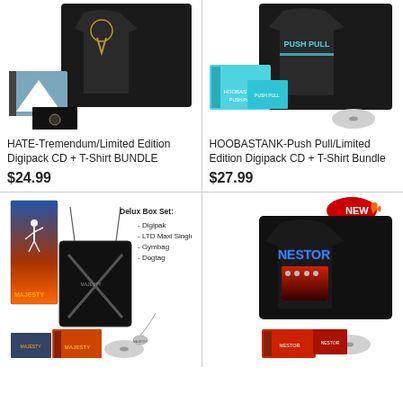[Figure (photo): HATE-Tremendum product photo with black t-shirt, album digipack and art card]
[Figure (photo): HOOBASTANK-Push Pull product photo with black t-shirt, digipack CD and art cards]
HATE-Tremendum/Limited Edition Digipack CD + T-Shirt BUNDLE
$24.99
HOOBASTANK-Push Pull/Limited Edition Digipack CD + T-Shirt Bundle
$27.99
[Figure (photo): MAJESTY Delux Box Set product photo with box, gymbag, digipak CD, maxi single, dogtag necklace]
Delux Box Set:
- Digipak
- LTD Maxi Single
- Gymbag
- Dogtag
[Figure (photo): NESTOR t-shirt and CD bundle product photo with NEW badge, black t-shirt with band logo and album art, CDs below]